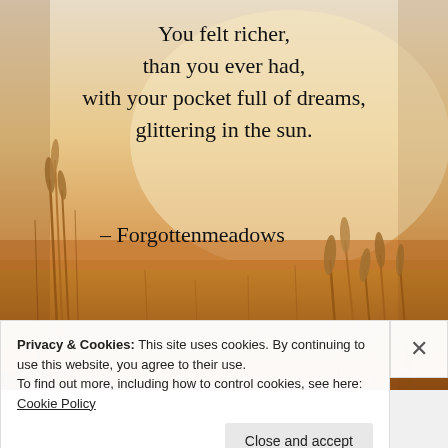[Figure (photo): A warm golden-toned photo of a sunlit wheat/grass field with blurred bokeh background in amber and orange tones, with a poetry quote and attribution overlaid in dark serif text.]
You felt richer, than you ever had, with your pocket full of dreams, glittering in the sun.
– Forgottenmeadows
Privacy & Cookies: This site uses cookies. By continuing to use this website, you agree to their use.
To find out more, including how to control cookies, see here: Cookie Policy
Close and accept